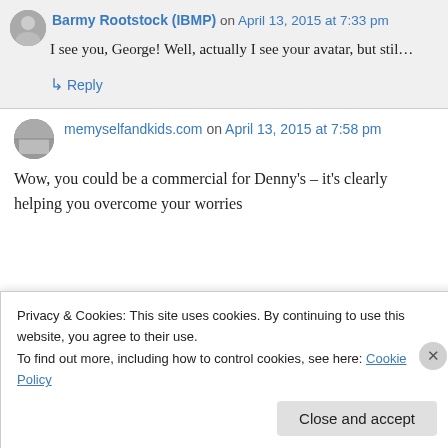Barmy Rootstock (IBMP) on April 13, 2015 at 7:33 pm
I see you, George! Well, actually I see your avatar, but stil…
↳ Reply
memyselfandkids.com on April 13, 2015 at 7:58 pm
Wow, you could be a commercial for Denny's – it's clearly helping you overcome your worries
Privacy & Cookies: This site uses cookies. By continuing to use this website, you agree to their use. To find out more, including how to control cookies, see here: Cookie Policy
Close and accept